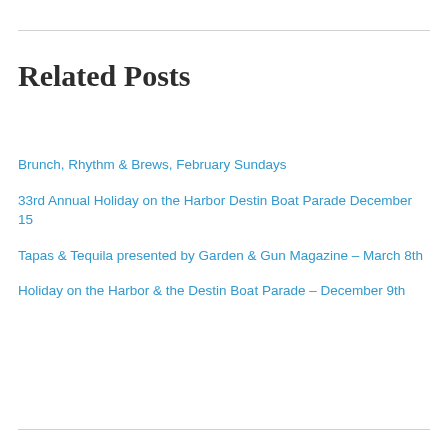Related Posts
Brunch, Rhythm & Brews, February Sundays
33rd Annual Holiday on the Harbor Destin Boat Parade December 15
Tapas & Tequila presented by Garden & Gun Magazine – March 8th
Holiday on the Harbor & the Destin Boat Parade – December 9th